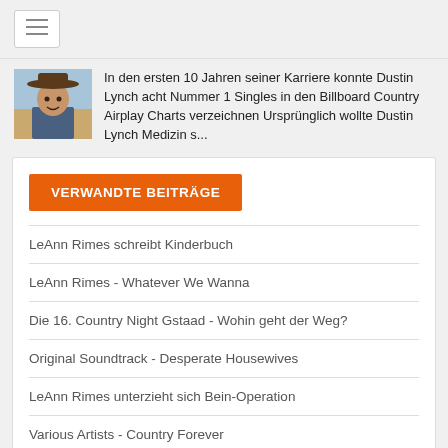[Figure (other): Hamburger/menu icon button in top left corner]
[Figure (photo): Photo of Dustin Lynch wearing a cowboy hat]
In den ersten 10 Jahren seiner Karriere konnte Dustin Lynch acht Nummer 1 Singles in den Billboard Country Airplay Charts verzeichnen Ursprünglich wollte Dustin Lynch Medizin s...
VERWANDTE BEITRÄGE
LeAnn Rimes schreibt Kinderbuch
LeAnn Rimes - Whatever We Wanna
Die 16. Country Night Gstaad - Wohin geht der Weg?
Original Soundtrack - Desperate Housewives
LeAnn Rimes unterzieht sich Bein-Operation
Various Artists - Country Forever
Neuerscheinungen: Country Music CDs und DVDs